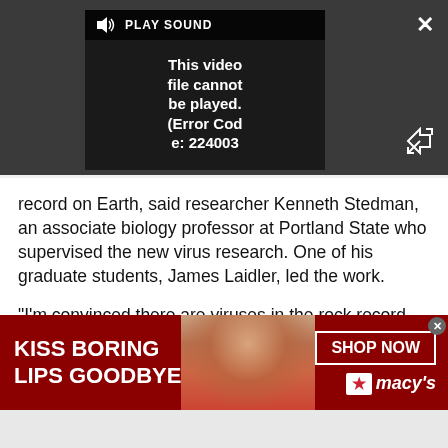[Figure (screenshot): Video player showing error: 'This video file cannot be played. (Error Code: 224003)' with Play Sound control bar, close button, and expand button on dark background]
record on Earth, said researcher Kenneth Stedman, an associate biology professor at Portland State who supervised the new virus research. One of his graduate students, James Laidler, led the work.
"I'm convinced there are viruses in the rock record, but we don't have the technology to detect them," Stedman said. "We really need to develop the technology [for virus detection] here before we can
[Figure (screenshot): Macy's advertisement banner: 'KISS BORING LIPS GOODBYE' with SHOP NOW button and Macy's star logo on red background with model photo]